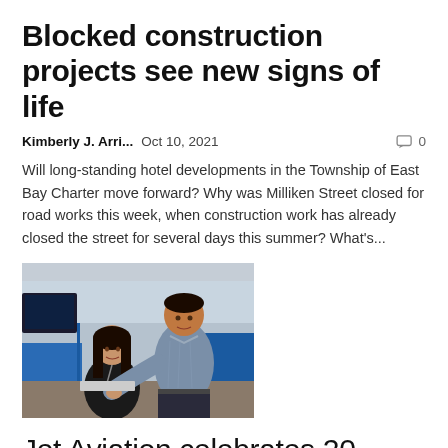Blocked construction projects see new signs of life
Kimberly J. Arri...   Oct 10, 2021   💬 0
Will long-standing hotel developments in the Township of East Bay Charter move forward? Why was Milliken Street closed for road works this week, when construction work has already closed the street for several days this summer? What's...
[Figure (photo): Two office workers, a woman and a man, looking at a computer screen together in an office environment with blue cubicle partitions and glass walls in the background.]
Jet Aviation celebrates 20 years in Hong Kong